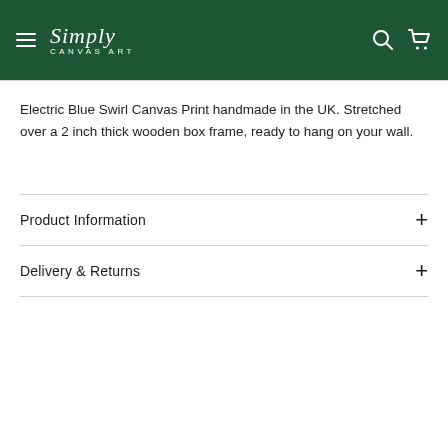Simply Canvas Art
Electric Blue Swirl Canvas Print handmade in the UK. Stretched over a 2 inch thick wooden box frame, ready to hang on your wall.
Product Information
Delivery & Returns